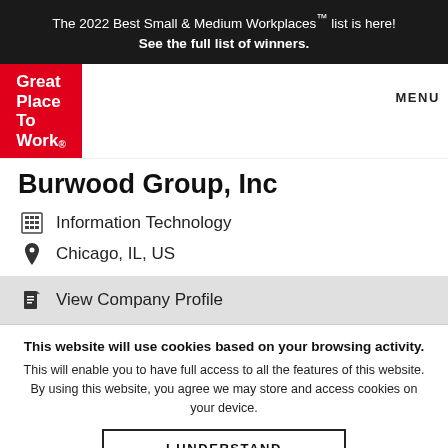The 2022 Best Small & Medium Workplaces™ list is here! See the full list of winners.
[Figure (logo): Great Place To Work red logo box in navigation bar]
Burwood Group, Inc
Information Technology
Chicago, IL, US
View Company Profile
This website will use cookies based on your browsing activity.
This will enable you to have full access to all the features of this website. By using this website, you agree we may store and access cookies on your device.
I UNDERSTAND